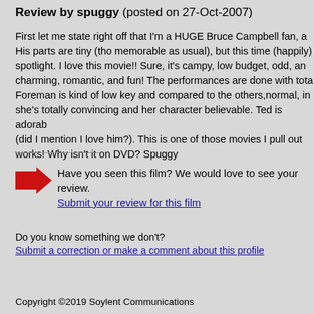Review by spuggy (posted on 27-Oct-2007)
First let me state right off that I'm a HUGE Bruce Campbell fan, and His parts are tiny (tho memorable as usual), but this time (happily) spotlight. I love this movie!! Sure, it's campy, low budget, odd, and charming, romantic, and fun! The performances are done with total Foreman is kind of low key and compared to the others,normal, in she's totally convincing and her character believable. Ted is adorable (did I mention I love him?). This is one of those movies I pull out works! Why isn't it on DVD? Spuggy
Have you seen this film? We would love to see your review. Submit your review for this film
Do you know something we don't?
Submit a correction or make a comment about this profile
Copyright ©2019 Soylent Communications